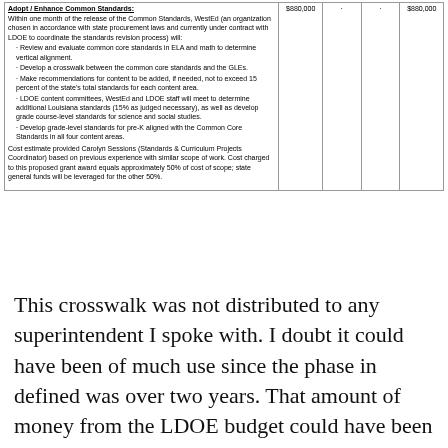| Description | Amount |  |  | Total |
| --- | --- | --- | --- | --- |
| Adopt / Enhance Common Standards:
Within one month of the release of the Common Standards, WestEd (an organization chosen in accordance with state procurement laws and currently under contract with LDOE to coordinate the standards revision process) will:
· Review and evaluate common core standards in ELA and math to determine vertical alignment.
· Develop a crosswalk between the common core standards and the GLEs.
· Make recommendations for content to be added, if needed, not to exceed 15 percent of the state's total standards for each content area.
· LDOE content committees, WestEd and LDOE staff will meet to determine additional Louisiana standards (15% as judged necessary), as well as develop grade course-level standards for science and social studies.
· Develop grade-level standards for pre-K aligned with the Common Core Standards in all four content areas.
Cost estimate provided Carolyn Sessions (Standards & Curriculum Projects Coordinator) based on previous experience with similar scope of work. Cost charged to this proposed grant award equals approximately 50% of cost of scope; state general funds will be leveraged for the other 50%. | $880,000 | · | · | $880,000 |
This crosswalk was not distributed to any superintendent I spoke with. I doubt it could have been of much use since the phase in defined was over two years. That amount of money from the LDOE budget could have been used to give pay